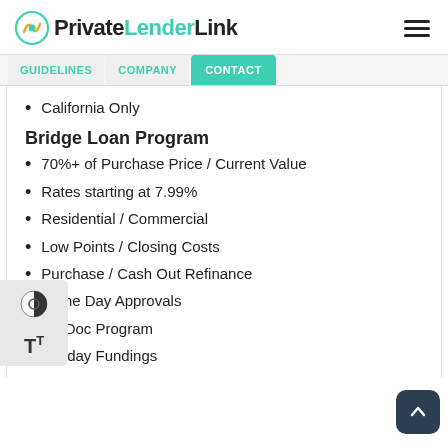PrivateLenderLink
California Only
Bridge Loan Program
70%+ of Purchase Price / Current Value
Rates starting at 7.99%
Residential / Commercial
Low Points / Closing Costs
Purchase / Cash Out Refinance
Same Day Approvals
No Doc Program
5-7 day Fundings